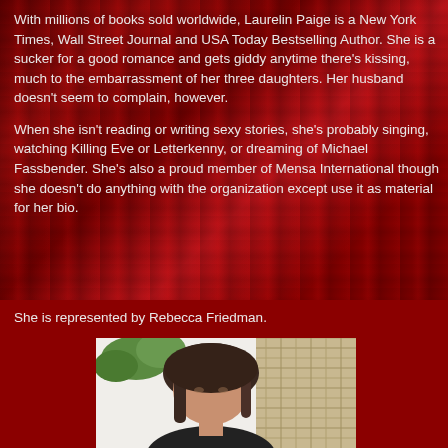With millions of books sold worldwide, Laurelin Paige is a New York Times, Wall Street Journal and USA Today Bestselling Author. She is a sucker for a good romance and gets giddy anytime there's kissing, much to the embarrassment of her three daughters. Her husband doesn't seem to complain, however.
When she isn't reading or writing sexy stories, she's probably singing, watching Killing Eve or Letterkenny, or dreaming of Michael Fassbender. She's also a proud member of Mensa International though she doesn't do anything with the organization except use it as material for her bio.
She is represented by Rebecca Friedman.
[Figure (photo): Portrait photo of a woman with dark hair, seated in front of a wicker/rattan background with greenery visible, wearing dark clothing]